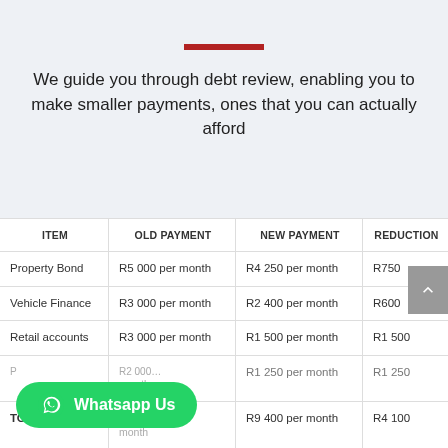We guide you through debt review, enabling you to make smaller payments, ones that you can actually afford
| ITEM | OLD PAYMENT | NEW PAYMENT | REDUCTION |
| --- | --- | --- | --- |
| Property Bond | R5 000 per month | R4 250 per month | R750 |
| Vehicle Finance | R3 000 per month | R2 400 per month | R600 |
| Retail accounts | R3 000 per month | R1 500 per month | R1 500 |
| [partial row] | [partial] | R1 250 per month | R1 250 |
| TOTAL | [partial] month | R9 400 per month | R4 100 |